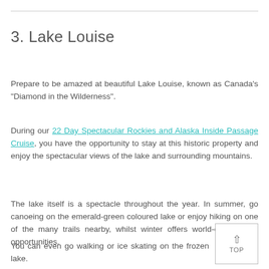3.  Lake Louise
Prepare to be amazed at beautiful Lake Louise, known as Canada’s “Diamond in the Wilderness”.
During our 22 Day Spectacular Rockies and Alaska Inside Passage Cruise, you have the opportunity to stay at this historic property and enjoy the spectacular views of the lake and surrounding mountains.
The lake itself is a spectacle throughout the year. In summer, go canoeing on the emerald-green coloured lake or enjoy hiking on one of the many trails nearby, whilst winter offers world-class skiing opportunities.
You can even go walking or ice skating on the frozen lake.